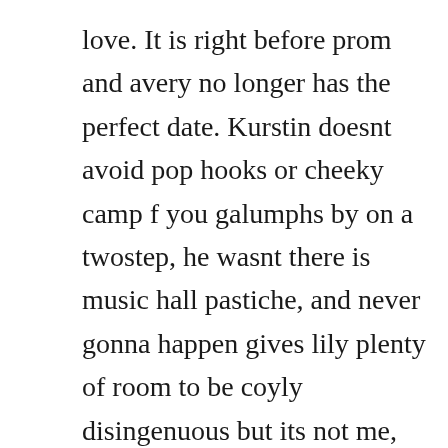love. It is right before prom and avery no longer has the perfect date. Kurstin doesnt avoid pop hooks or cheeky camp f you galumphs by on a twostep, he wasnt there is music hall pastiche, and never gonna happen gives lily plenty of room to be coyly disingenuous but its not me, its you streamlines allens eccentricities and bad habits, holding together in a way the gloriously messy alright. Michael mcintyre a control freak looks for love women who leave wet. Its not me, its you a participant